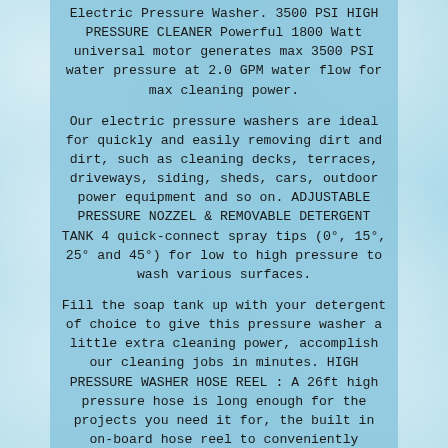Electric Pressure Washer. 3500 PSI HIGH PRESSURE CLEANER Powerful 1800 Watt universal motor generates max 3500 PSI water pressure at 2.0 GPM water flow for max cleaning power.
Our electric pressure washers are ideal for quickly and easily removing dirt and dirt, such as cleaning decks, terraces, driveways, siding, sheds, cars, outdoor power equipment and so on. ADJUSTABLE PRESSURE NOZZEL & REMOVABLE DETERGENT TANK 4 quick-connect spray tips (0°, 15°, 25° and 45°) for low to high pressure to wash various surfaces.
Fill the soap tank up with your detergent of choice to give this pressure washer a little extra cleaning power, accomplish our cleaning jobs in minutes. HIGH PRESSURE WASHER HOSE REEL : A 26ft high pressure hose is long enough for the projects you need it for, the built in on-board hose reel to conveniently protect and helps prevent kinks in the high-presure hose and makes winding or unwinding a simple task. TOTAL STOP STSTEM(TTS) : Our electric power washer features safety automatic total stop